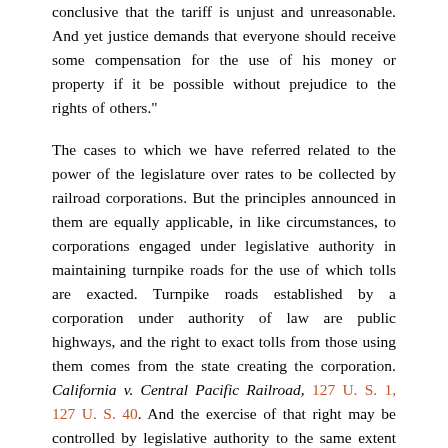conclusive that the tariff is unjust and unreasonable. And yet justice demands that everyone should receive some compensation for the use of his money or property if it be possible without prejudice to the rights of others."
The cases to which we have referred related to the power of the legislature over rates to be collected by railroad corporations. But the principles announced in them are equally applicable, in like circumstances, to corporations engaged under legislative authority in maintaining turnpike roads for the use of which tolls are exacted. Turnpike roads established by a corporation under authority of law are public highways, and the right to exact tolls from those using them comes from the state creating the corporation. California v. Central Pacific Railroad, 127 U. S. 1, 127 U. S. 40. And the exercise of that right may be controlled by legislative authority to the same extent that similar rights,